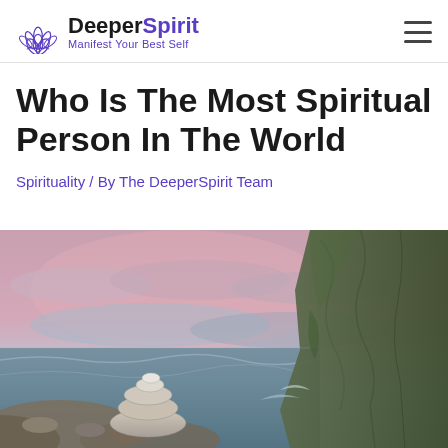DeeperSpirit — Manifest Your Best Self
Who Is The Most Spiritual Person In The World
Spirituality / By The DeeperSpirit Team
[Figure (photo): Stacked zen stones on a rocky beach with a dramatic pink and blue sunset sky in the background, and a large rock cliff on the right side.]